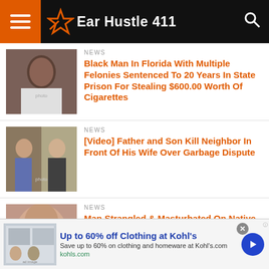Ear Hustle 411
NEWS
Black Man In Florida With Multiple Felonies Sentenced To 20 Years In State Prison For Stealing $600.00 Worth Of Cigarettes
[Figure (photo): Mugshot of a Black man in a white tank top]
NEWS
[Video] Father and Son Kill Neighbor In Front Of His Wife Over Garbage Dispute
[Figure (photo): Two people in an outdoor confrontation scene]
NEWS
Man Strangled & Masturbated On Native American Woman Gets No Time
[Figure (photo): Close-up photo of a man's face]
Up to 60% off Clothing at Kohl's
Save up to 60% on clothing and homeware at Kohl's.com
kohls.com